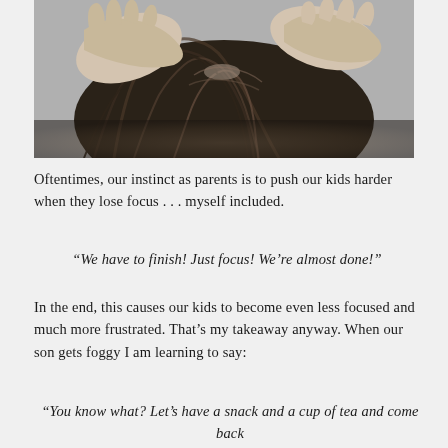[Figure (photo): Black and white close-up photo of hands parting through a child's hair, looking for lice or checking the scalp]
Oftentimes, our instinct as parents is to push our kids harder when they lose focus . . . myself included.
“We have to finish! Just focus! We’re almost done!”
In the end, this causes our kids to become even less focused and much more frustrated. That’s my takeaway anyway. When our son gets foggy I am learning to say:
“You know what? Let’s have a snack and a cup of tea and come back to this in a few minutes.”